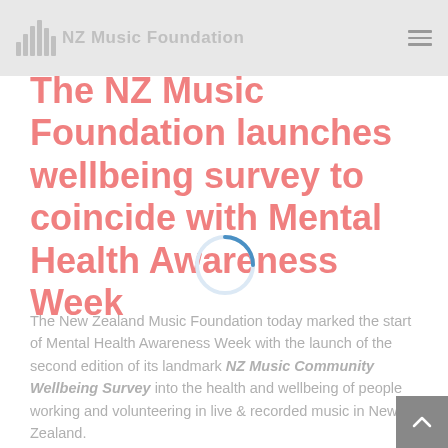NZ Music Foundation
The NZ Music Foundation launches wellbeing survey to coincide with Mental Health Awareness Week
[Figure (other): Loading spinner circle icon, blue outline]
The New Zealand Music Foundation today marked the start of Mental Health Awareness Week with the launch of the second edition of its landmark NZ Music Community Wellbeing Survey into the health and wellbeing of people working and volunteering in live & recorded music in New Zealand.